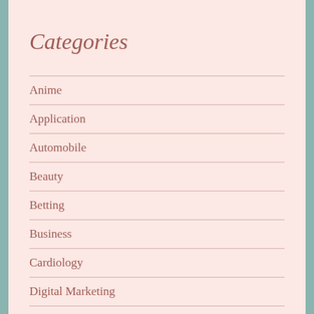Categories
Anime
Application
Automobile
Beauty
Betting
Business
Cardiology
Digital Marketing
Education
Entertainment